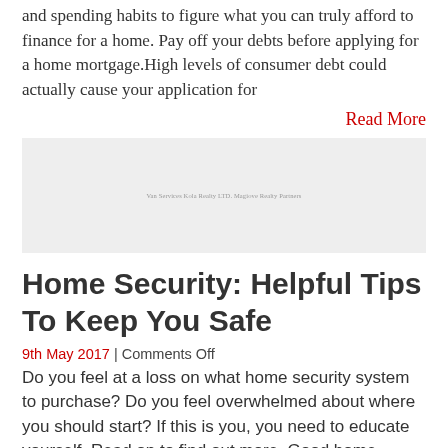and spending habits to figure what you can truly afford to finance for a home. Pay off your debts before applying for a home mortgage.High levels of consumer debt could actually cause your application for
Read More
[Figure (photo): Placeholder image with small watermark text]
Home Security: Helpful Tips To Keep You Safe
9th May 2017 | Comments Off
Do you feel at a loss on what home security system to purchase? Do you feel overwhelmed about where you should start? If this is you, you need to educate yourself. Read on to find out more. Good home